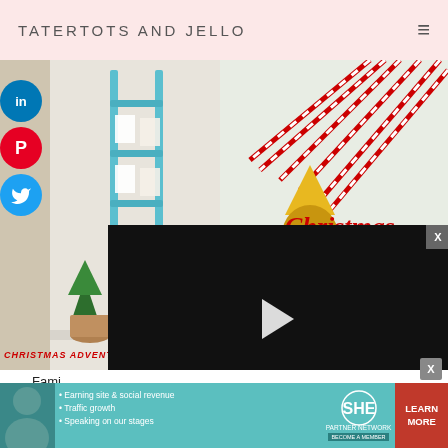TATERTOTS AND JELLO
[Figure (screenshot): Website screenshot showing Tatertots and Jello blog with Christmas advent ladder and Christmas striped straw images, social share buttons for LinkedIn, Pinterest, and Twitter, and a video overlay with play button showing 13:52 timestamp, plus a SHE Partner Network advertisement banner at the bottom.]